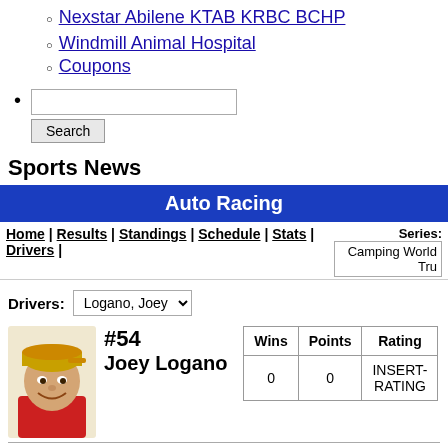Nexstar Abilene KTAB KRBC BCHP
Windmill Animal Hospital
Coupons
Search (input + button)
Sports News
Auto Racing
Home | Results | Standings | Schedule | Stats | Drivers | Series: Camping World Tru...
Drivers: Logano, Joey
#54 Joey Logano
| Wins | Points | Rating |
| --- | --- | --- |
| 0 | 0 | INSERT-RATING |
Sponsor: Planet Fitness  Height: 6-1  Born: 05/24/1990
Debut: 2008  Weight:  Birthplace: Middletown,